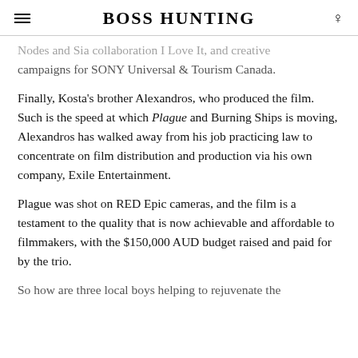BOSS HUNTING
Nodes and Sia collaboration I Love It, and creative campaigns for SONY Universal & Tourism Canada.
Finally, Kosta's brother Alexandros, who produced the film. Such is the speed at which Plague and Burning Ships is moving, Alexandros has walked away from his job practicing law to concentrate on film distribution and production via his own company, Exile Entertainment.
Plague was shot on RED Epic cameras, and the film is a testament to the quality that is now achievable and affordable to filmmakers, with the $150,000 AUD budget raised and paid for by the trio.
So how are three local boys helping to rejuvenate the